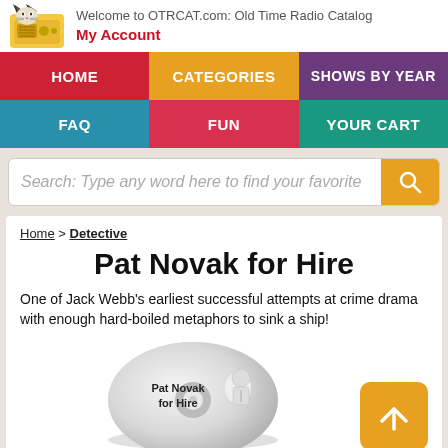Welcome to OTRCAT.com: Old Time Radio Catalog | My Account
[Figure (screenshot): Navigation menu with HOME (red), CATEGORIES (orange), SHOWS BY YEAR (purple), FAQ (teal), FUN (pink-red), YOUR CART (green) buttons]
[Figure (screenshot): Search bar: 'Search: Type any word here to find your favorite' with orange search button]
Home > Detective
Pat Novak for Hire
One of Jack Webb's earliest successful attempts at crime drama with enough hard-boiled metaphors to sink a ship!
[Figure (photo): CD/disc product image for 'Pat Novak for Hire' with image of man in suit]